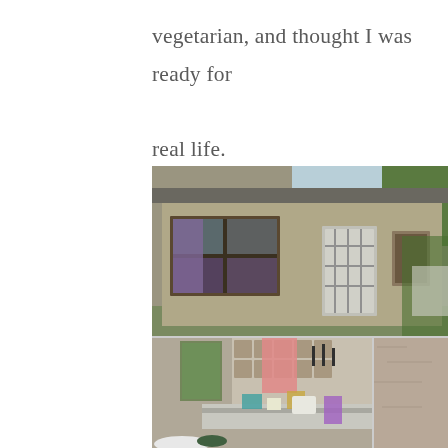vegetarian, and thought I was ready for real life.
[Figure (photo): Exterior of a small concrete/mud-plaster house with wooden window frames and purple curtains, a barred security door, and trees visible in the background on a sunny day. Below is a split image: left showing the interior kitchen area with a counter, dishes, utensils hanging on a decorative block wall, a pink cloth, and a window; right showing a close-up of a rough plastered wall.]